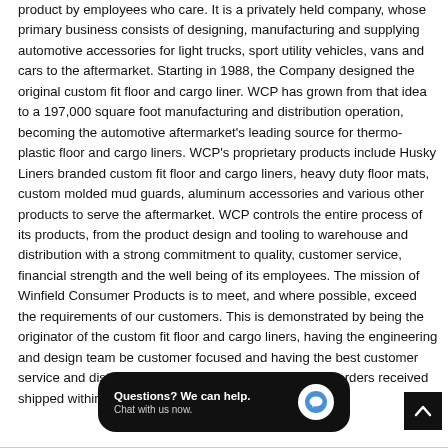product by employees who care. It is a privately held company, whose primary business consists of designing, manufacturing and supplying automotive accessories for light trucks, sport utility vehicles, vans and cars to the aftermarket. Starting in 1988, the Company designed the original custom fit floor and cargo liner. WCP has grown from that idea to a 197,000 square foot manufacturing and distribution operation, becoming the automotive aftermarket's leading source for thermo-plastic floor and cargo liners. WCP's proprietary products include Husky Liners branded custom fit floor and cargo liners, heavy duty floor mats, custom molded mud guards, aluminum accessories and various other products to serve the aftermarket. WCP controls the entire process of its products, from the product design and tooling to warehouse and distribution with a strong commitment to quality, customer service, financial strength and the well being of its employees. The mission of Winfield Consumer Products is to meet, and where possible, exceed the requirements of our customers. This is demonstrated by being the originator of the custom fit floor and cargo liners, having the engineering and design team be customer focused and having the best customer service and distribution in the industry, with virtually all orders received shipped within 24 hours.
[Figure (other): Chat widget with text 'Questions? We can help. Chat with us now.' and a blue speech bubble icon on dark background]